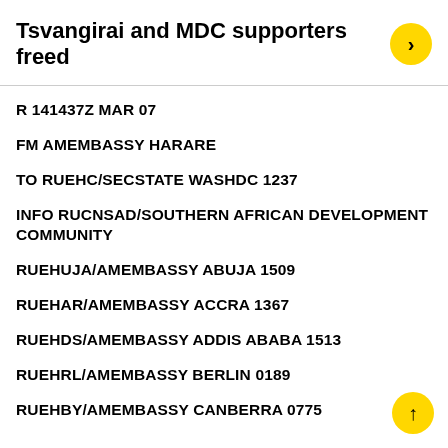Tsvangirai and MDC supporters freed
R 141437Z MAR 07
FM AMEMBASSY HARARE
TO RUEHC/SECSTATE WASHDC 1237
INFO RUCNSAD/SOUTHERN AFRICAN DEVELOPMENT COMMUNITY
RUEHUJA/AMEMBASSY ABUJA 1509
RUEHAR/AMEMBASSY ACCRA 1367
RUEHDS/AMEMBASSY ADDIS ABABA 1513
RUEHRL/AMEMBASSY BERLIN 0189
RUEHBY/AMEMBASSY CANBERRA 0775